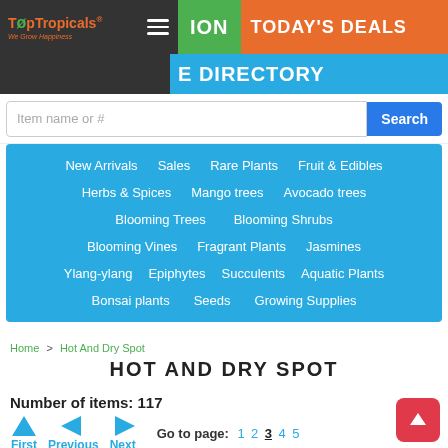[Figure (screenshot): TopTropicals logo with orange and green text on dark background]
ION   TODAY'S DEALS   E DIRECTORY
Item name or #   Search
New Arrivals
Sales
Rare Plants
Fruit & Edibles
Herbs & Spices
Mango trees
Avocado trees
Blooming Trees
Blooming Shrubs
Blooming Vines
Fragrant Plants
Jasmines
Ylang-ylang
Epiphytes
Succulents
Aquatic Plants
Bonsai plants
Seeds
Growing Supplies
Home > Hot And Dry Spot
HOT AND DRY SPOT
Number of items: 117
First   Previous   Next   Go to page: 1 2 3 4 5